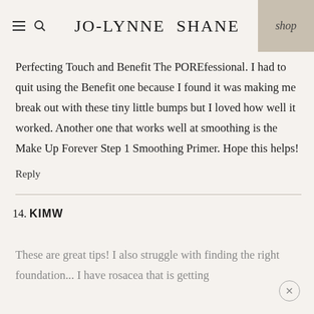JO-LYNNE SHANE | shop
Perfecting Touch and Benefit The POREfessional. I had to quit using the Benefit one because I found it was making me break out with these tiny little bumps but I loved how well it worked. Another one that works well at smoothing is the Make Up Forever Step 1 Smoothing Primer. Hope this helps!
Reply
14. KIMW
These are great tips! I also struggle with finding the right foundation... I have rosacea that is getting